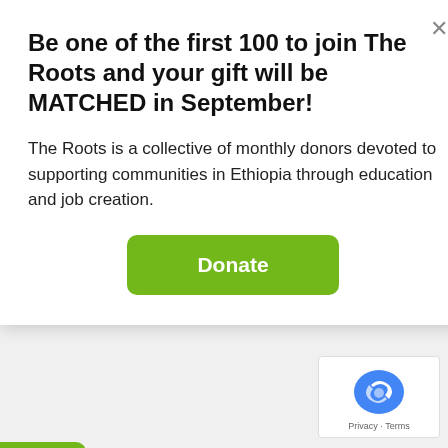Be one of the first 100 to join The Roots and your gift will be MATCHED in September!
The Roots is a collective of monthly donors devoted to supporting communities in Ethiopia through education and job creation.
Donate
e skills needed to save money.
[Figure (screenshot): reCAPTCHA widget with Privacy and Terms text]
Donat ♥